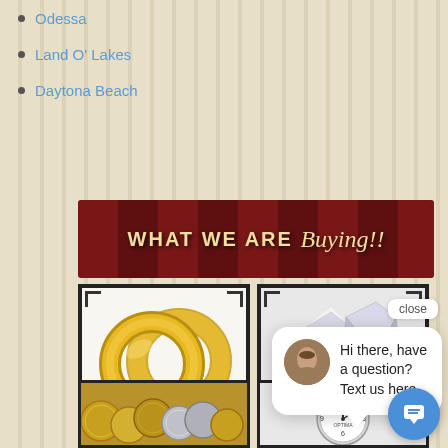Odessa
Land O' Lakes
Daytona Beach
[Figure (infographic): Banner reading 'WHAT WE ARE Buying!!' in vintage style with red/dark red striped background]
[Figure (photo): Two gold wedding bands/rings]
[Figure (photo): Three sparkling diamonds on white/grey background]
[Figure (screenshot): Chat popup with avatar and message: Hi there, have a question? Text us here.]
[Figure (photo): Gold and silver coins]
[Figure (photo): Wristwatch/clock face]
GOLD &